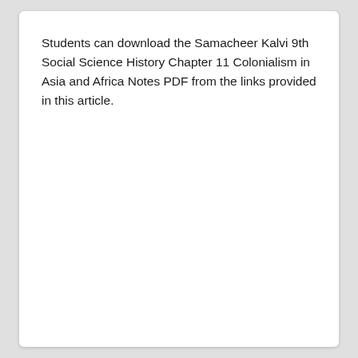Students can download the Samacheer Kalvi 9th Social Science History Chapter 11 Colonialism in Asia and Africa Notes PDF from the links provided in this article.